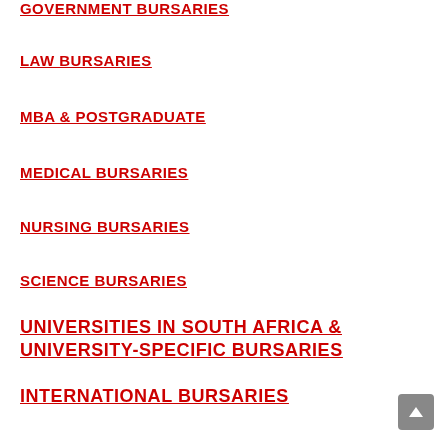GOVERNMENT BURSARIES
LAW BURSARIES
MBA & POSTGRADUATE
MEDICAL BURSARIES
NURSING BURSARIES
SCIENCE BURSARIES
UNIVERSITIES IN SOUTH AFRICA & UNIVERSITY-SPECIFIC BURSARIES
INTERNATIONAL BURSARIES
CLICK HERE FOR THE LATEST BURSARY APPLICATION FORMS